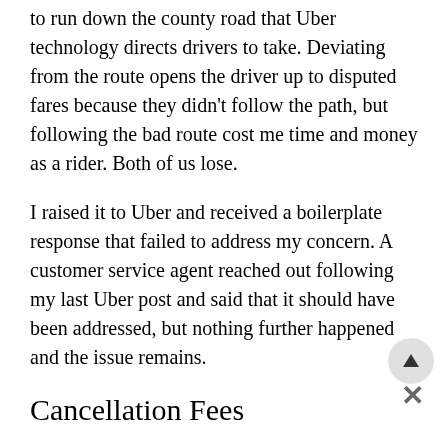to run down the county road that Uber technology directs drivers to take. Deviating from the route opens the driver up to disputed fares because they didn't follow the path, but following the bad route cost me time and money as a rider. Both of us lose.
I raised it to Uber and received a boilerplate response that failed to address my concern. A customer service agent reached out following my last Uber post and said that it should have been addressed, but nothing further happened and the issue remains.
Cancellation Fees
The worst piece of technology baked into the Uber system has to be driver cancellation. I have waited outside the airport for a ride for ten minutes only to